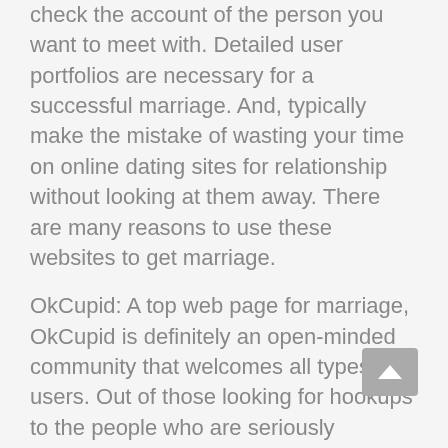check the account of the person you want to meet with. Detailed user portfolios are necessary for a successful marriage. And, typically make the mistake of wasting your time on online dating sites for relationship without looking at them away. There are many reasons to use these websites to get marriage.
OkCupid: A top web page for marriage, OkCupid is definitely an open-minded community that welcomes all types of users. Out of those looking for hookups to the people who are seriously interested in marriage, OkCupid is a great destination to get linked. Which has a membership database of over 34 , 000, 000 users, it can no surprise that this website will be a major success. Therefore , what makes OkCupid one of the best sites for matrimony?